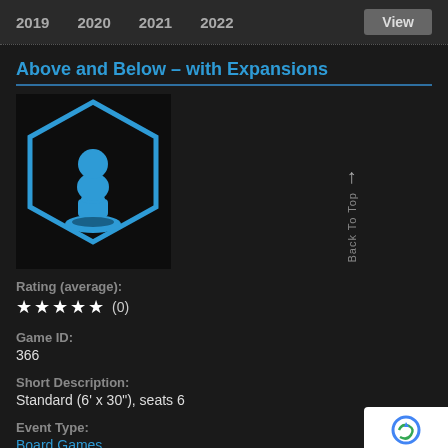2019  2020  2021  2022  View
Above and Below – with Expansions
[Figure (logo): Blue chess pawn piece inside a blue hexagon outline on a dark/black background]
Rating (average):
★★★★★ (0)
Game ID:
366
Short Description:
Standard (6' x 30"), seats 6
Event Type:
Board Games